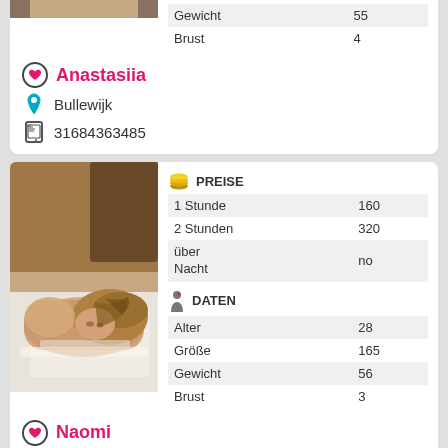[Figure (photo): Partial top of first card showing truncated photo]
|  |  |
| --- | --- |
| Gewicht | 55 |
| Brust | 4 |
Anastasiia
Bullewijk
31684363485
[Figure (photo): Woman lying on white bed sheets, blonde hair, viewed from above angle]
PREISE
|  |  |
| --- | --- |
| 1 Stunde | 160 |
| 2 Stunden | 320 |
| über Nacht | no |
DATEN
|  |  |
| --- | --- |
| Alter | 28 |
| Größe | 165 |
| Gewicht | 56 |
| Brust | 3 |
Naomi
Bullewijk
31630086080